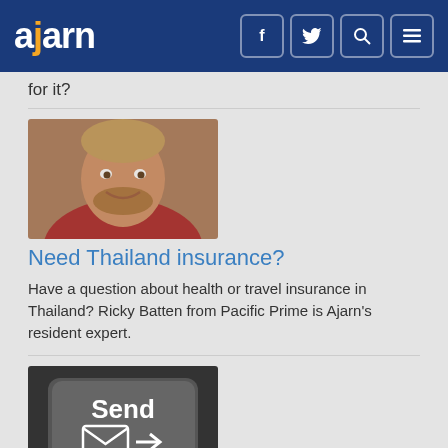ajarn
for it?
[Figure (photo): Headshot of a young smiling man with a beard, wearing a red checked shirt]
Need Thailand insurance?
Have a question about health or travel insurance in Thailand? Ricky Batten from Pacific Prime is Ajarn's resident expert.
[Figure (photo): Close-up photo of a keyboard 'Send' key with an envelope and arrow icon]
Contributions welcome
If you like visiting ajarn.com and reading the content, why